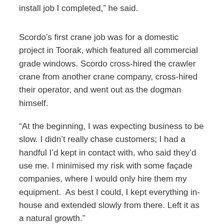install job I completed,” he said.
Scordo’s first crane job was for a domestic project in Toorak, which featured all commercial grade windows. Scordo cross-hired the crawler crane from another crane company, cross-hired their operator, and went out as the dogman himself.
“At the beginning, I was expecting business to be slow. I didn’t really chase customers; I had a handful I’d kept in contact with, who said they’d use me. I minimised my risk with some façade companies, where I would only hire them my equipment.  As best I could, I kept everything in-house and extended slowly from there. Left it as a natural growth.”